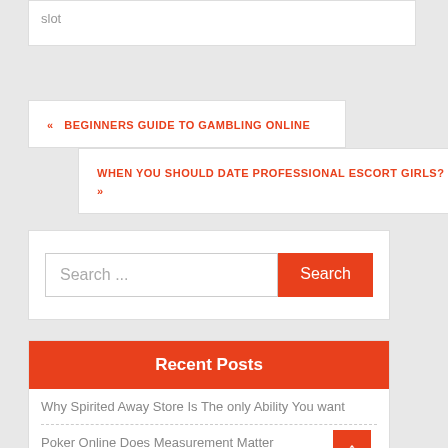slot
« BEGINNERS GUIDE TO GAMBLING ONLINE
WHEN YOU SHOULD DATE PROFESSIONAL ESCORT GIRLS? »
Search ...
Recent Posts
Why Spirited Away Store Is The only Ability You want
Poker Online Does Measurement Matter
Your Weakest Hyperlink: Use It To Haikyuu Shop